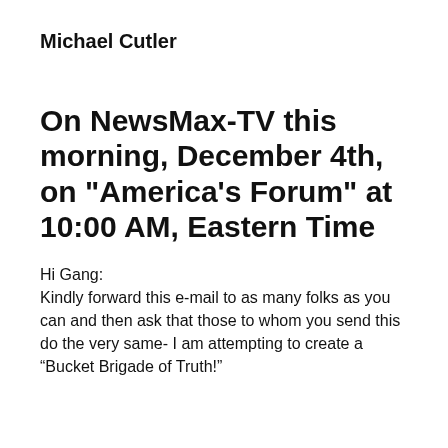Michael Cutler
On NewsMax-TV this morning, December 4th, on "America's Forum" at 10:00 AM, Eastern Time
Hi Gang:
Kindly forward this e-mail to as many folks as you can and then ask that those to whom you send this do the very same- I am attempting to create a “Bucket Brigade of Truth!”